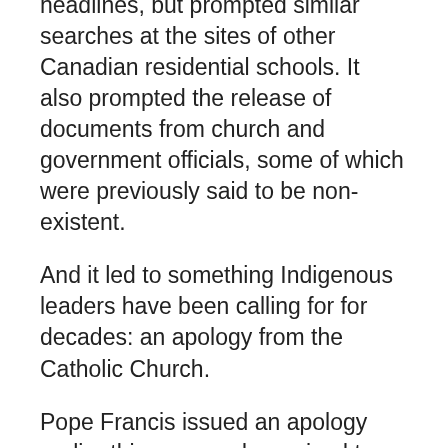headlines, but prompted similar searches at the sites of other Canadian residential schools. It also prompted the release of documents from church and government officials, some of which were previously said to be non-existent.
And it led to something Indigenous leaders have been calling for for decades: an apology from the Catholic Church.
Pope Francis issued an apology earlier this year, and promised to visit some First Nations in Canada this summer.
But notably absent from the Pope's itinerary is a stop in Kamloops, despite invitations from the Tk'emlúps te Secwépemc.
In fact, so far it doesn't appear he'll be visiting